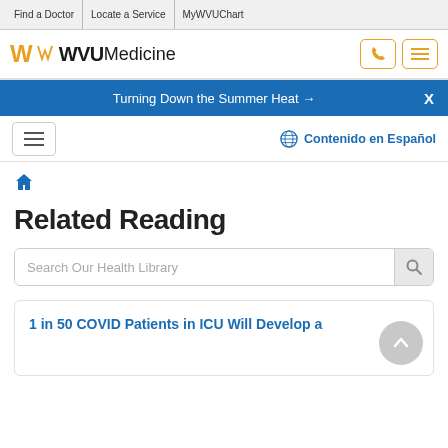Find a Doctor | Locate a Service | MyWVUChart
[Figure (logo): WVU Medicine logo with phone and menu icons]
Turning Down the Summer Heat →
Contenido en Español
Home (breadcrumb icon)
Related Reading
Search Our Health Library
1 in 50 COVID Patients in ICU Will Develop a